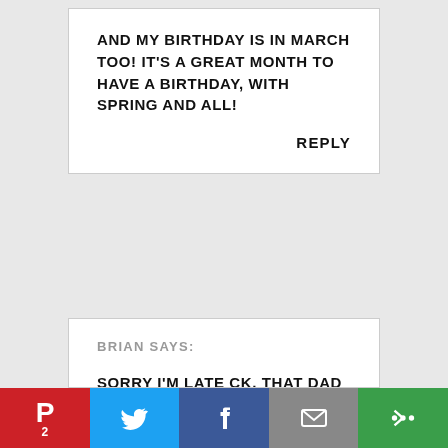AND MY BIRTHDAY IS IN MARCH TOO! IT'S A GREAT MONTH TO HAVE A BIRTHDAY, WITH SPRING AND ALL!
REPLY
BRIAN SAYS:
SORRY I'M LATE CK, THAT DAD HAD HIS 2ND CATARACT SURGERY YESTERDAY. I ALWAYS LOVE YOUR TUNES!
REPLY